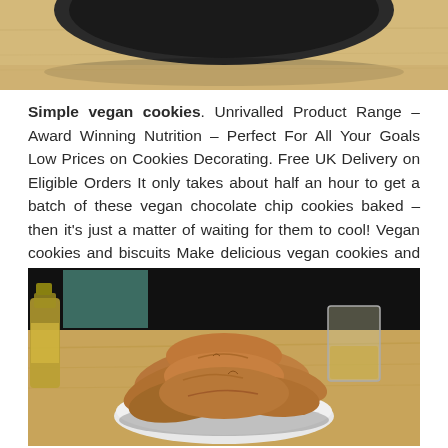[Figure (photo): Top portion of a photo showing a dark bowl or pan on a wooden surface, cropped at the bottom]
Simple vegan cookies. Unrivalled Product Range – Award Winning Nutrition – Perfect For All Your Goals Low Prices on Cookies Decorating. Free UK Delivery on Eligible Orders It only takes about half an hour to get a batch of these vegan chocolate chip cookies baked – then it's just a matter of waiting for them to cool! Vegan cookies and biscuits Make delicious vegan cookies and biscuits for friends and family, or just yourself!
[Figure (photo): Photo of a bowl of vegan cookies/biscuits piled up on a wooden table, with a glass of drink and a bottle visible in the background]